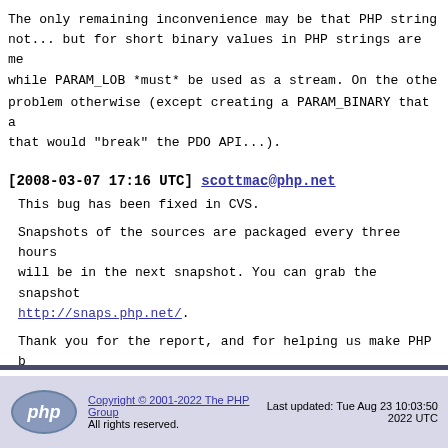The only remaining inconvenience may be that PHP strings are not... but for short binary values in PHP strings are me while PARAM_LOB *must* be used as a stream. On the other problem otherwise (except creating a PARAM_BINARY that a that would "break" the PDO API...).
[2008-03-07 17:16 UTC] scottmac@php.net
This bug has been fixed in CVS.
Snapshots of the sources are packaged every three hours will be in the next snapshot. You can grab the snapshot http://snaps.php.net/.
Thank you for the report, and for helping us make PHP b
In 5.3+ at the moment.
Copyright © 2001-2022 The PHP Group All rights reserved. Last updated: Tue Aug 23 10:03:50 2022 UTC